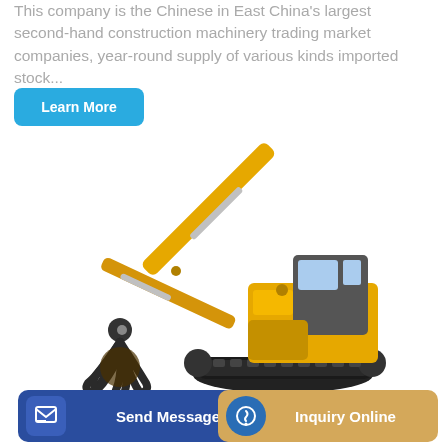This company is the Chinese in East China's largest second-hand construction machinery trading market companies, year-round supply of various kinds imported stock...
[Figure (other): Blue 'Learn More' button with rounded corners]
[Figure (photo): Yellow construction excavator with grapple attachment, long arm, tracked base and operator cab, white background]
[Figure (other): Bottom navigation bar with 'Send Message' blue button on the left, 'Trac' text in middle, and 'Inquiry Online' gold button on the right]